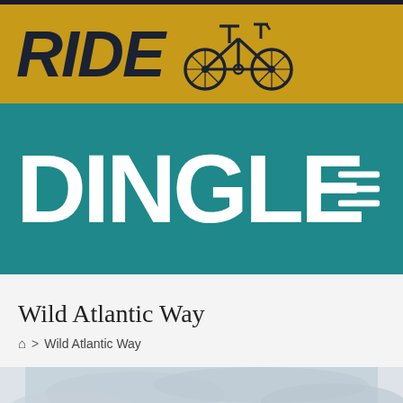[Figure (logo): Ride Dingle website header logo with gold banner showing RIDE text and bicycle icon, and teal banner showing DINGLE text with hamburger menu icon]
Wild Atlantic Way
Home > Wild Atlantic Way
[Figure (photo): Partial photograph showing a cloudy sky over what appears to be coastal scenery, cut off at page bottom]